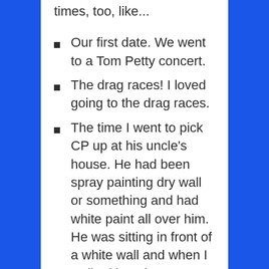times, too, like...
Our first date. We went to a Tom Petty concert.
The drag races! I loved going to the drag races.
The time I went to pick CP up at his uncle's house. He had been spray painting dry wall or something and had white paint all over him. He was sitting in front of a white wall and when I walked into the room I